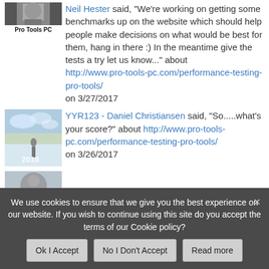[Figure (photo): Avatar/thumbnail for Pro Tools PC, dark photo]
Neil Hester said, "We're working on getting some benchmarks up on the website which should help people make decisions on what would be best for them, hang in there :) In the meantime give the tests a try let us know..." about http://www.pro-tools-pc.com/performance-testing-pro-tools/ on 3/27/2017
[Figure (photo): Outdoor winter/snowy scene with person, partially showing '2018' text]
YYR123 - Daniel Christiansen said, "So.....what's your score?" about http://www.pro-tools-pc.com/performance-testing-pro-tools/ on 3/26/2017
[Figure (photo): Partial avatar image at bottom, grey/blue tones]
We use cookies to ensure that we give you the best experience on our website. If you wish to continue using this site do you accept the terms of our Cookie policy?